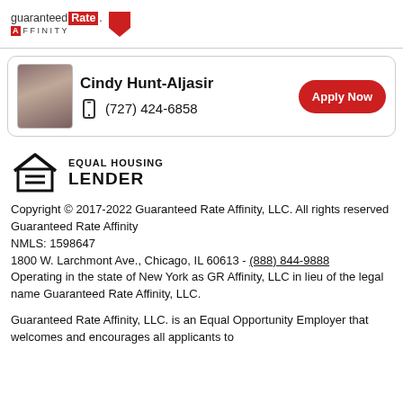[Figure (logo): Guaranteed Rate Affinity logo with red Rate badge and red downward arrow, and AFFINITY text with red A box]
Cindy Hunt-Aljasir
(727) 424-6858
Apply Now
[Figure (logo): Equal Housing Lender logo — house outline with equal sign inside, text EQUAL HOUSING LENDER]
Copyright © 2017-2022 Guaranteed Rate Affinity, LLC. All rights reserved Guaranteed Rate Affinity
NMLS: 1598647
1800 W. Larchmont Ave., Chicago, IL 60613 - (888) 844-9888
Operating in the state of New York as GR Affinity, LLC in lieu of the legal name Guaranteed Rate Affinity, LLC.
Guaranteed Rate Affinity, LLC. is an Equal Opportunity Employer that welcomes and encourages all applicants to apply regardless of age, race, sex, religion, color, national origin, disability, veteran status, sexual orientation, gender identity and/or expression, or any other legally protected characteristic.